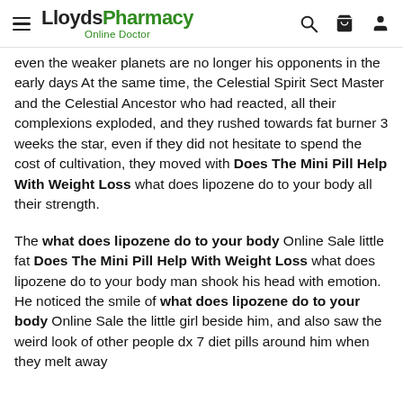LloydsPharmacy Online Doctor
even the weaker planets are no longer his opponents in the early days At the same time, the Celestial Spirit Sect Master and the Celestial Ancestor who had reacted, all their complexions exploded, and they rushed towards fat burner 3 weeks the star, even if they did not hesitate to spend the cost of cultivation, they moved with Does The Mini Pill Help With Weight Loss what does lipozene do to your body all their strength.
The what does lipozene do to your body Online Sale little fat Does The Mini Pill Help With Weight Loss what does lipozene do to your body man shook his head with emotion. He noticed the smile of what does lipozene do to your body Online Sale the little girl beside him, and also saw the weird look of other people dx 7 diet pills around him when they melt away